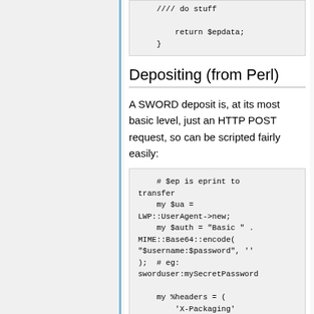//// do stuff

        return $epdata;
    }
Depositing (from Perl)
A SWORD deposit is, at its most basic level, just an HTTP POST request, so can be scripted fairly easily:
# $ep is eprint to transfer
    my $ua =
LWP::UserAgent->new;
    my $auth = "Basic " .
MIME::Base64::encode(
"$username:$password", ''
);  # eg:
sworduser:mySecretPassword

    my %headers = (
        'X-Packaging'